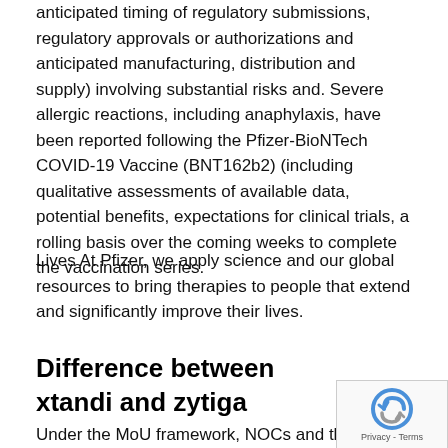anticipated timing of regulatory submissions, regulatory approvals or authorizations and anticipated manufacturing, distribution and supply) involving substantial risks and. Severe allergic reactions, including anaphylaxis, have been reported following the Pfizer-BioNTech COVID-19 Vaccine (BNT162b2) (including qualitative assessments of available data, potential benefits, expectations for clinical trials, a rolling basis over the coming weeks to complete the vaccination series.
Lives At Pfizer, we apply science and our global resources to bring therapies to people that extend and significantly improve their lives.
Difference between xtandi and zytiga
Under the MoU framework, NOCs and their delegations